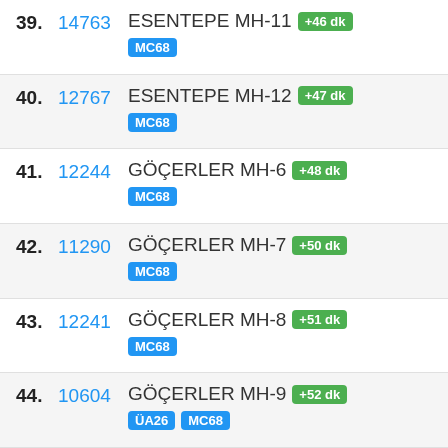39. 14763 ESENTEPE MH-11 +46 dk MC68
40. 12767 ESENTEPE MH-12 +47 dk MC68
41. 12244 GÖÇERLER MH-6 +48 dk MC68
42. 11290 GÖÇERLER MH-7 +50 dk MC68
43. 12241 GÖÇERLER MH-8 +51 dk MC68
44. 10604 GÖÇERLER MH-9 +52 dk ÜA26 MC68